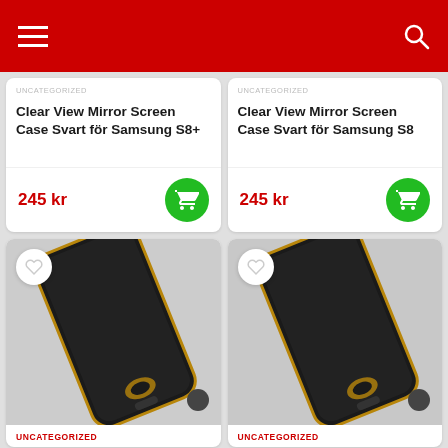Navigation bar with hamburger menu and search icon
UNCATEGORIZED
Clear View Mirror Screen Case Svart för Samsung S8+
245 kr
UNCATEGORIZED
Clear View Mirror Screen Case Svart för Samsung S8
245 kr
[Figure (photo): Black phone case product photo for unnamed product]
UNCATEGORIZED
[Figure (photo): Black phone case product photo for unnamed product]
UNCATEGORIZED